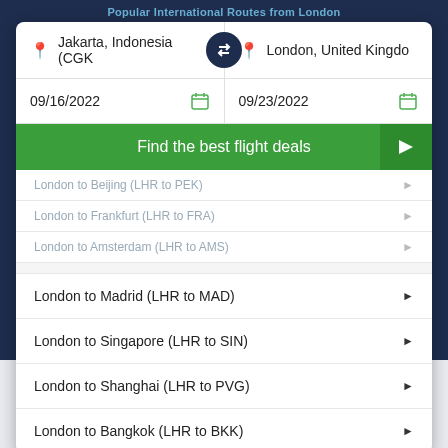Popular International Routes from London
Jakarta, Indonesia (CGK)
London, United Kingdo
09/16/2022
09/23/2022
Find the best flight deals
London to Beijing (LHR to PEK)
London to Frankfurt (LHR to FRA)
London to Amsterdam (LHR to AMS)
London to Madrid (LHR to MAD)
London to Singapore (LHR to SIN)
London to Shanghai (LHR to PVG)
London to Bangkok (LHR to BKK)